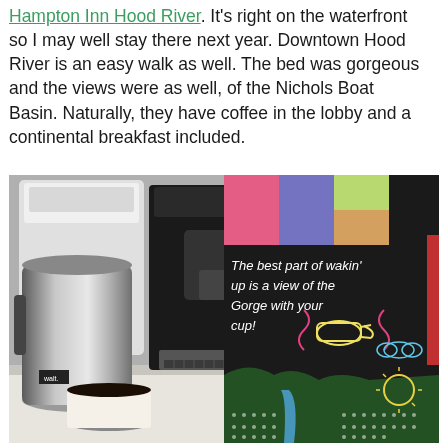Hampton Inn Hood River. It's right on the waterfront so I may well stay there next year. Downtown Hood River is an easy walk as well. The bed was gorgeous and the views were as well, of the Nichols Boat Basin. Naturally, they have coffee in the lobby and a continental breakfast included.
[Figure (photo): Photo of a hotel coffee station with a coffee maker, a stainless steel carafe, a paper cup of black coffee, and a chalkboard sign reading 'The best part of wakin' up is a view of the Gorge with your cup!' with drawings of a teacup, sun, clouds, mountains, and river.]